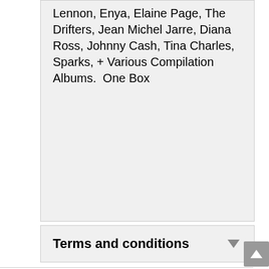Lennon, Enya, Elaine Page, The Drifters, Jean Michel Jarre, Diana Ross, Johnny Cash, Tina Charles, Sparks, + Various Compilation Albums.  One Box
Terms and conditions